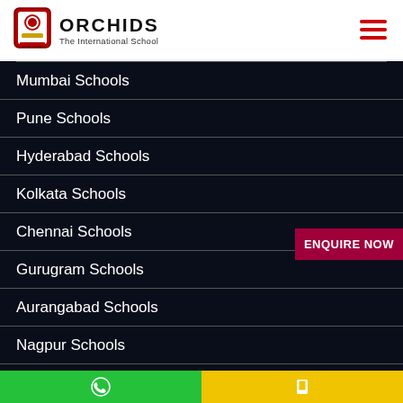[Figure (logo): Orchids The International School logo with crest emblem]
ORCHIDS The International School
Mumbai Schools
Pune Schools
Hyderabad Schools
Kolkata Schools
Chennai Schools
Gurugram Schools
Aurangabad Schools
Nagpur Schools
Tumkur Schools
ENQUIRE NOW